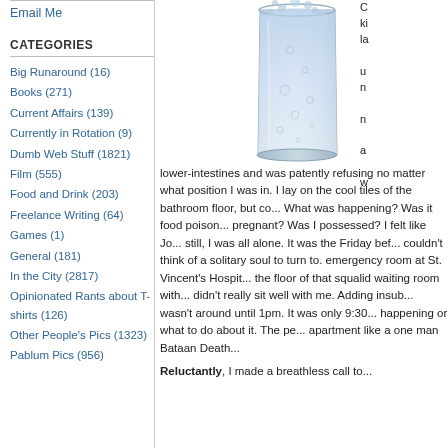Email Me
CATEGORIES
Big Runaround (16)
Books (271)
Current Affairs (139)
Currently in Rotation (9)
Dumb Web Stuff (1821)
Film (555)
Food and Drink (203)
Freelance Writing (64)
Games (1)
General (181)
In the City (2817)
Opinionated Rants about T-shirts (126)
Other People's Pics (1323)
Pablum Pics (956)
[Figure (photo): A glass of water with ice and bubbles splashing inside it, photographed against a white background.]
C... ki... la... u... n... n... a... w... lower-intestines and was patently refusing no matter what position I was in. I lay on the cool tiles of the bathroom floor, but co... What was happening? Was it food poison... pregnant? Was I possessed? I felt like Jo... still, I was all alone. It was the Friday bef... couldn't think of a solitary soul to turn to. emergency room at St. Vincent's Hospit... the floor of that squalid waiting room with... didn't really sit well with me. Adding insub... wasn't around until 1pm. It was only 9:30... happening or what to do about it. The pe... apartment like a one man Bataan Death...
Reluctantly, I made a breathless call to...